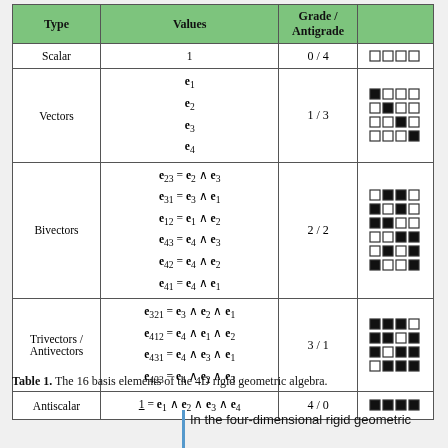| Type | Values | Grade / Antigrade |  |
| --- | --- | --- | --- |
| Scalar | 1 | 0 / 4 | [diagram] |
| Vectors | e1, e2, e3, e4 | 1 / 3 | [diagrams] |
| Bivectors | e23=e2∧e3, e31=e3∧e1, e12=e1∧e2, e43=e4∧e3, e42=e4∧e2, e41=e4∧e1 | 2 / 2 | [diagrams] |
| Trivectors / Antivectors | e321=e3∧e2∧e1, e412=e4∧e1∧e2, e431=e4∧e3∧e1, e423=e4∧e2∧e3 | 3 / 1 | [diagrams] |
| Antiscalar | 𝟙 = e1∧e2∧e3∧e4 | 4 / 0 | [diagram] |
Table 1. The 16 basis elements of the 4D rigid geometric algebra.
In the four-dimensional rigid geometric